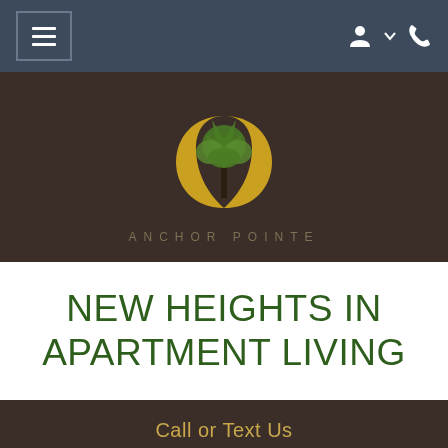[Figure (screenshot): Navigation bar with hamburger menu icon on left and user/phone icons on right, dark blue-gray background]
[Figure (logo): Anchor Pointe apartment logo: green tree inside a golden crescent moon circle, with text 'ANCHOR POINTE' below, on dark brown background]
NEW HEIGHTS IN APARTMENT LIVING
Call or Text Us
[Figure (illustration): Golden circular bell/concierge button in bottom right corner]